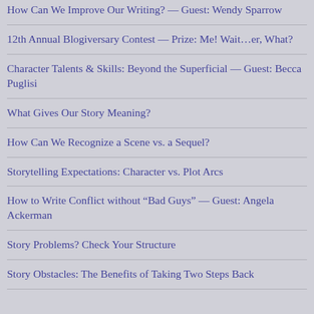How Can We Improve Our Writing? — Guest: Wendy Sparrow
12th Annual Blogiversary Contest — Prize: Me! Wait…er, What?
Character Talents & Skills: Beyond the Superficial — Guest: Becca Puglisi
What Gives Our Story Meaning?
How Can We Recognize a Scene vs. a Sequel?
Storytelling Expectations: Character vs. Plot Arcs
How to Write Conflict without “Bad Guys” — Guest: Angela Ackerman
Story Problems? Check Your Structure
Story Obstacles: The Benefits of Taking Two Steps Back